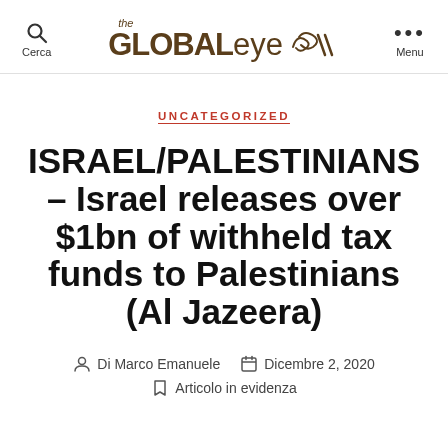the GLOBALeye [logo] — Cerca | Menu
UNCATEGORIZED
ISRAEL/PALESTINIANS – Israel releases over $1bn of withheld tax funds to Palestinians (Al Jazeera)
Di Marco Emanuele  Dicembre 2, 2020  Articolo in evidenza